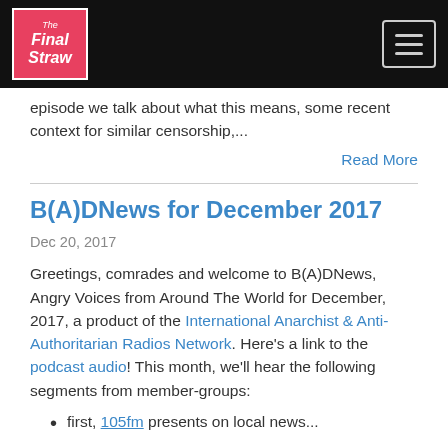The Final Straw
episode we talk about what this means, some recent context for similar censorship,...
Read More
B(A)DNews for December 2017
Dec 20, 2017
Greetings, comrades and welcome to B(A)DNews, Angry Voices from Around The World for December, 2017, a product of the International Anarchist & Anti-Authoritarian Radios Network. Here's a link to the podcast audio! This month, we'll hear the following segments from member-groups:
first, 105fm presents on local news...
Read More
Share